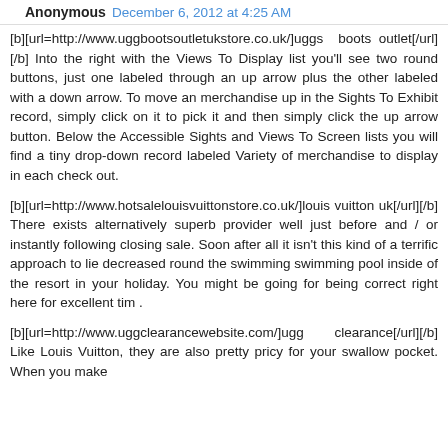Anonymous  December 6, 2012 at 4:25 AM
[b][url=http://www.uggbootsoutletukstore.co.uk/]uggs boots outlet[/url][/b] Into the right with the Views To Display list you'll see two round buttons, just one labeled through an up arrow plus the other labeled with a down arrow. To move an merchandise up in the Sights To Exhibit record, simply click on it to pick it and then simply click the up arrow button. Below the Accessible Sights and Views To Screen lists you will find a tiny drop-down record labeled Variety of merchandise to display in each check out.
[b][url=http://www.hotsalelouisvuittonstore.co.uk/]louis vuitton uk[/url][/b] There exists alternatively superb provider well just before and / or instantly following closing sale. Soon after all it isn't this kind of a terrific approach to lie decreased round the swimming swimming pool inside of the resort in your holiday. You might be going for being correct right here for excellent tim .
[b][url=http://www.uggclearancewebsite.com/]ugg clearance[/url][/b] Like Louis Vuitton, they are also pretty pricy for your swallow pocket. When you make